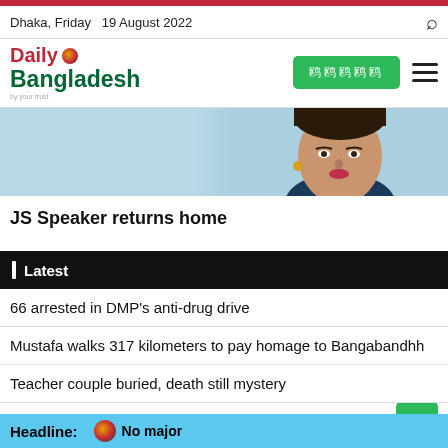Dhaka, Friday  19 August 2022
[Figure (logo): Daily Bangladesh newspaper logo with red 'Daily' text and green globe icon, green 'Bangladesh' text, and green Bangla script button]
[Figure (photo): Partial portrait photo of a woman, cropped at top, showing face and upper body]
JS Speaker returns home
Latest
66 arrested in DMP's anti-drug drive
Mustafa walks 317 kilometers to pay homage to Bangabandh
Teacher couple buried, death still mystery
Maritime ports asked to keep hoisted signal 3
Xi, Putin to attend G20 summit this November
Headline: No major